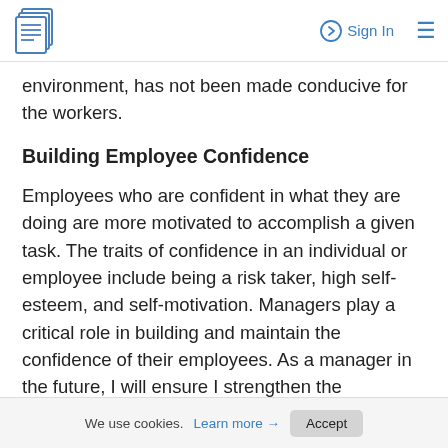Sign In  ≡
environment, has not been made conducive for the workers.
Building Employee Confidence
Employees who are confident in what they are doing are more motivated to accomplish a given task. The traits of confidence in an individual or employee include being a risk taker, high self-esteem, and self-motivation. Managers play a critical role in building and maintain the confidence of their employees. As a manager in the future, I will ensure I strengthen the confidence of the employees by not assuming
We use cookies. Learn more → Accept